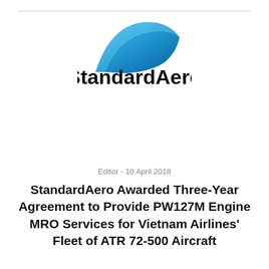[Figure (logo): StandardAero company logo: a blue curved wing/swoosh shape above the text 'StandardAero' in bold black sans-serif font]
Editor - 10 April 2018
StandardAero Awarded Three-Year Agreement to Provide PW127M Engine MRO Services for Vietnam Airlines' Fleet of ATR 72-500 Aircraft